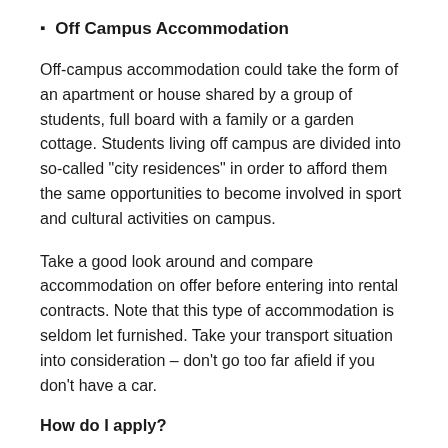Off Campus Accommodation
Off-campus accommodation could take the form of an apartment or house shared by a group of students, full board with a family or a garden cottage. Students living off campus are divided into so-called “city residences” in order to afford them the same opportunities to become involved in sport and cultural activities on campus.
Take a good look around and compare accommodation on offer before entering into rental contracts. Note that this type of accommodation is seldom let furnished. Take your transport situation into consideration – don’t go too far afield if you don’t have a car.
How do I apply?
To qualify for on-campus accommodation, students must reserve rooms well in advance. Students are required to